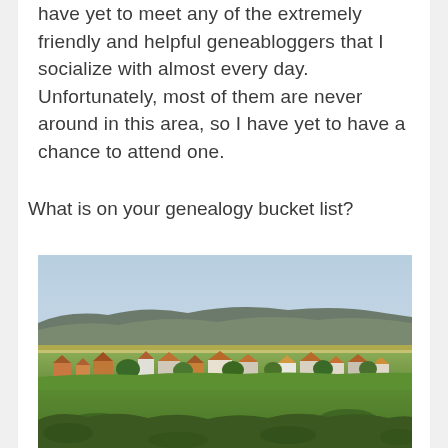have yet to meet any of the extremely friendly and helpful geneabloggers that I socialize with almost every day. Unfortunately, most of them are never around in this area, so I have yet to have a chance to attend one.
What is on your genealogy bucket list?
[Figure (photo): Aerial landscape view of a small European village with red-roofed houses surrounded by green fields and trees, with forested hills in the background under a hazy sky.]